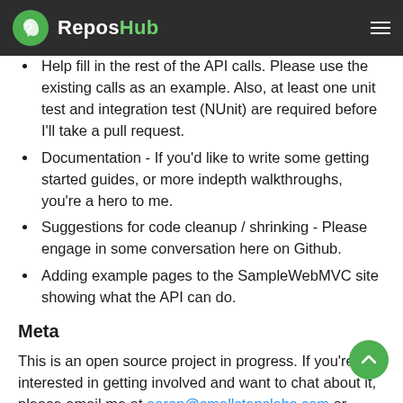ReposHub
Help fill in the rest of the API calls. Please use the existing calls as an example. Also, at least one unit test and integration test (NUnit) are required before I'll take a pull request.
Documentation - If you'd like to write some getting started guides, or more indepth walkthroughs, you're a hero to me.
Suggestions for code cleanup / shrinking - Please engage in some conversation here on Github.
Adding example pages to the SampleWebMVC site showing what the API can do.
Meta
This is an open source project in progress. If you're interested in getting involved and want to chat about it, please email me at aaron@smallstepslabs.com or twitter @aaronc